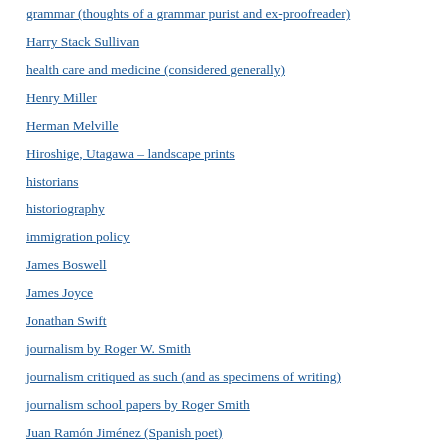grammar (thoughts of a grammar purist and ex-proofreader)
Harry Stack Sullivan
health care and medicine (considered generally)
Henry Miller
Herman Melville
Hiroshige, Utagawa – landscape prints
historians
historiography
immigration policy
James Boswell
James Joyce
Jonathan Swift
journalism by Roger W. Smith
journalism critiqued as such (and as specimens of writing)
journalism school papers by Roger Smith
Juan Ramón Jiménez (Spanish poet)
language (vocabulary, usage); language in the abstract as it pertains to writing
language policing (political correctness)